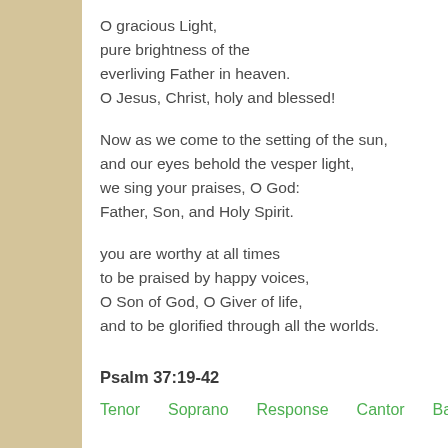O gracious Light,
pure brightness of the
everliving Father in heaven.
O Jesus, Christ, holy and blessed!
Now as we come to the setting of the sun,
and our eyes behold the vesper light,
we sing your praises, O God:
Father, Son, and Holy Spirit.
you are worthy at all times
to be praised by happy voices,
O Son of God, O Giver of life,
and to be glorified through all the worlds.
Psalm 37:19-42
Tenor    Soprano    Response    Cantor    Bas